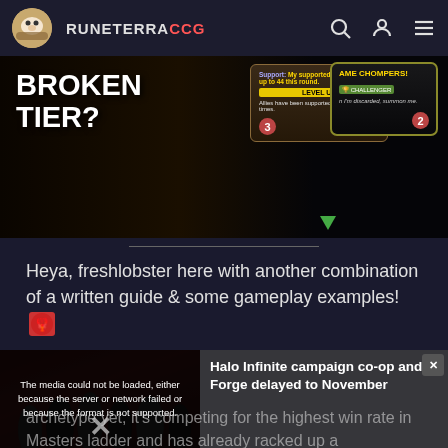RUNE TERRA CCG
[Figure (screenshot): Game screenshot showing cards with text 'BROKEN TIER?' on the left, and game cards in the center and right including one with Support text and Level Up, and one labeled with Challenger keyword.]
Heya, freshlobster here with another combination of a written guide & some gameplay examples! 🦞
[Figure (screenshot): Embedded video player showing a media error: 'The media could not be loaded, either because the server or network failed or because the format is not supported.' Alongside it, a sidebar shows text 'Halo Infinite campaign co-op and Forge delayed to November' with a close button.]
archetype yet, it's competing for the highest win rate in Masters ladder and has already racked up a